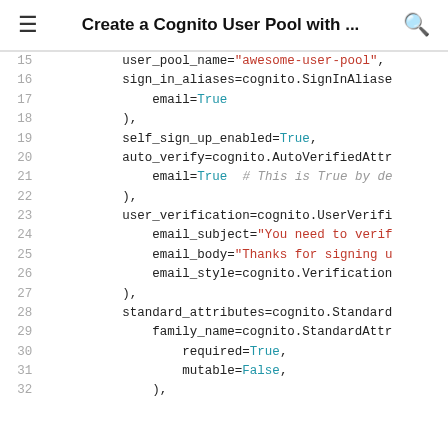Create a Cognito User Pool with ...
[Figure (screenshot): Code snippet showing Python CDK code for creating a Cognito User Pool, lines 15-32, with syntax highlighting: red strings, blue keywords (True/False), grey comments.]